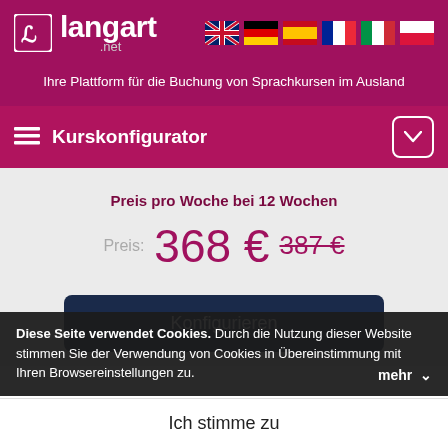[Figure (logo): langart.net logo with icon on magenta background with language flags (UK, Germany, Spain, France, Italy, Poland)]
Ihre Plattform für die Buchung von Sprachkursen im Ausland
Kurskonfigurator
Preis pro Woche bei 12 Wochen
Preis: 368 € 387 €
Konfigurieren
Diese Seite verwendet Cookies. Durch die Nutzung dieser Website stimmen Sie der Verwendung von Cookies in Übereinstimmung mit Ihren Browsereinstellungen zu.
mehr
Ich stimme zu